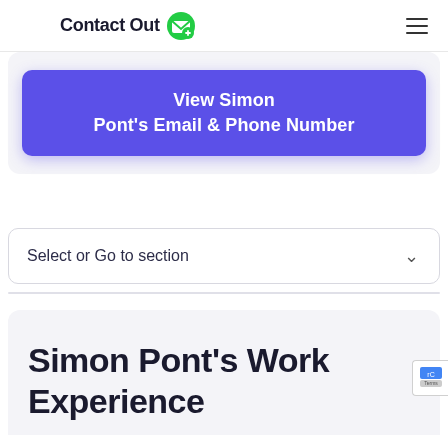ContactOut
View Simon Pont's Email & Phone Number
Select or Go to section
Simon Pont's Work Experience